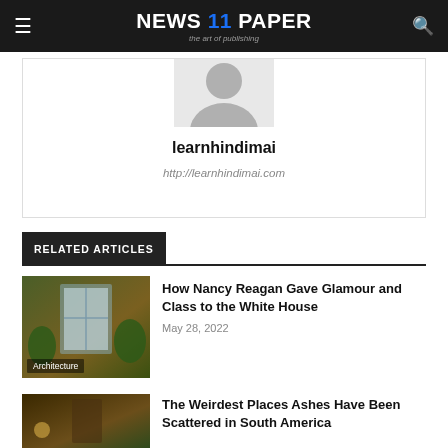NEWS 11 PAPER — the art of publishing
[Figure (photo): Default user avatar placeholder icon (grey silhouette on white background)]
learnhindimai
http://learnhindimai.com
RELATED ARTICLES
[Figure (photo): Interior room with green plants, a window with natural light, and warm decor. Category label: Architecture]
How Nancy Reagan Gave Glamour and Class to the White House
May 28, 2022
[Figure (photo): Dark interior room with wooden furniture and warm lighting, clock visible]
The Weirdest Places Ashes Have Been Scattered in South America